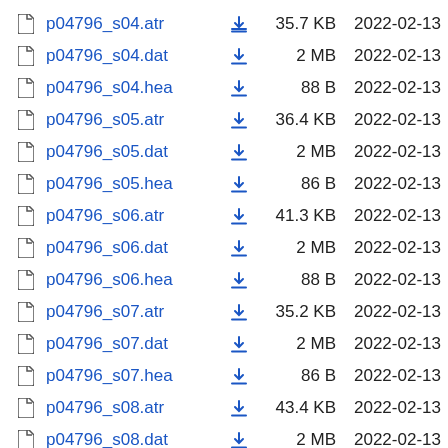p04796_s04.atr  35.7 KB  2022-02-13
p04796_s04.dat  2 MB  2022-02-13
p04796_s04.hea  88 B  2022-02-13
p04796_s05.atr  36.4 KB  2022-02-13
p04796_s05.dat  2 MB  2022-02-13
p04796_s05.hea  86 B  2022-02-13
p04796_s06.atr  41.3 KB  2022-02-13
p04796_s06.dat  2 MB  2022-02-13
p04796_s06.hea  88 B  2022-02-13
p04796_s07.atr  35.2 KB  2022-02-13
p04796_s07.dat  2 MB  2022-02-13
p04796_s07.hea  86 B  2022-02-13
p04796_s08.atr  43.4 KB  2022-02-13
p04796_s08.dat  2 MB  2022-02-13